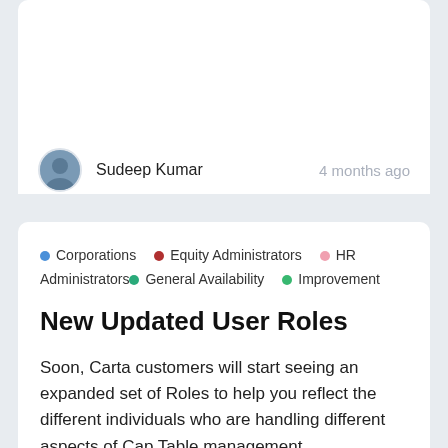Sudeep Kumar
4 months ago
Corporations  Equity Administrators  HR Administrators  General Availability  Improvement
New Updated User Roles
Soon, Carta customers will start seeing an expanded set of Roles to help you reflect the different individuals who are handling different aspects of Cap Table management.